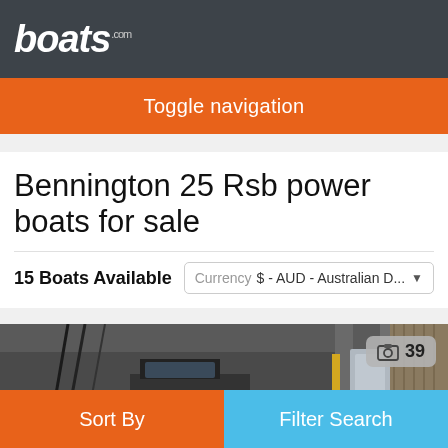boats.com
Toggle navigation
Bennington 25 Rsb power boats for sale
15 Boats Available
Currency  $ - AUD - Australian D...
[Figure (photo): Interior view of a Bennington 25 RSB boat, showing seating, steering controls and boat components in a warehouse/storage facility. Photo count badge showing 39 photos.]
Sort By
Filter Search